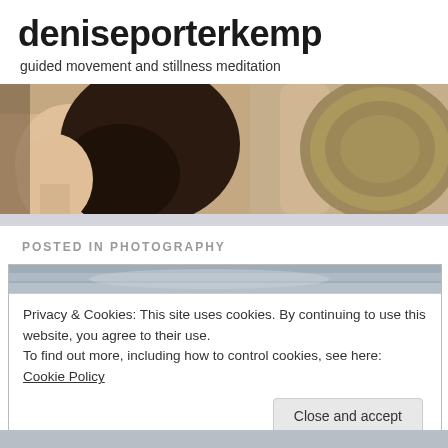deniseporterkemp
guided movement and stillness meditation
[Figure (photo): A woman with dark wavy hair raising her arm to hold or strike a large bronze/brass singing bowl or gong, side profile, light background.]
POSTED IN PHOTOGRAPHY
[Figure (photo): A card overlay with a blurred sky background at the top, containing a cookie consent notice.]
Privacy & Cookies: This site uses cookies. By continuing to use this website, you agree to their use.
To find out more, including how to control cookies, see here: Cookie Policy